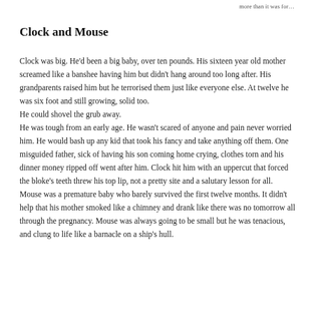more than it was for…
Clock and Mouse
Clock was big. He'd been a big baby, over ten pounds. His sixteen year old mother screamed like a banshee having him but didn't hang around too long after. His grandparents raised him but he terrorised them just like everyone else. At twelve he was six foot and still growing, solid too.
He could shovel the grub away.
He was tough from an early age. He wasn't scared of anyone and pain never worried him. He would bash up any kid that took his fancy and take anything off them. One misguided father, sick of having his son coming home crying, clothes torn and his dinner money ripped off went after him. Clock hit him with an uppercut that forced the bloke's teeth threw his top lip, not a pretty site and a salutary lesson for all.
Mouse was a premature baby who barely survived the first twelve months. It didn't help that his mother smoked like a chimney and drank like there was no tomorrow all through the pregnancy. Mouse was always going to be small but he was tenacious, and clung to life like a barnacle on a ship's hull.